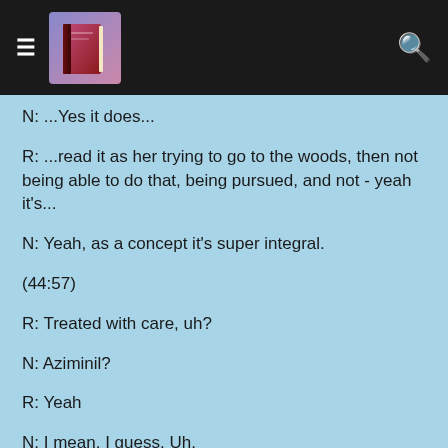≡ [book icon] 🔍
N: ...Yes it does...
R: ...read it as her trying to go to the woods, then not being able to do that, being pursued, and not - yeah it's...
N: Yeah, as a concept it's super integral.
(44:57)
R: Treated with care, uh?
N: Aziminil?
R: Yeah
N: I mean, I guess. Uh.
R: Let's go with enough.